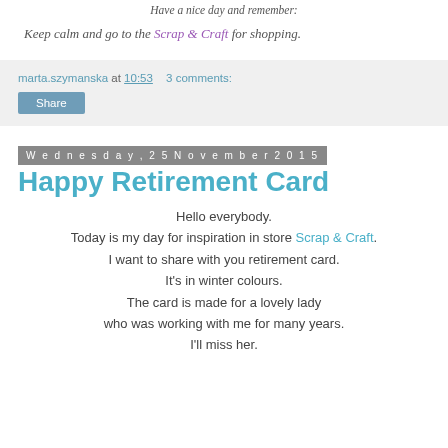Have a nice day and remember:
Keep calm and go to the Scrap & Craft for shopping.
marta.szymanska at 10:53   3 comments:
Share
Wednesday, 25 November 2015
Happy Retirement Card
Hello everybody.
Today is my day for inspiration in store Scrap & Craft.
I want to share with you retirement card.
It's in winter colours.
The card is made for a lovely lady
who was working with me for many years.
I'll miss her.